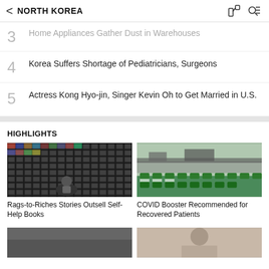NORTH KOREA
3  Home Appliances Gather Dust in Warehouses
4  Korea Suffers Shortage of Pediatricians, Surgeons
5  Actress Kong Hyo-jin, Singer Kevin Oh to Get Married in U.S.
HIGHLIGHTS
[Figure (photo): Person looking at wall of products/books in a store]
Rags-to-Riches Stories Outsell Self-Help Books
[Figure (photo): Rows of green-capped vaccine vials on production line]
COVID Booster Recommended for Recovered Patients
[Figure (photo): Partial image at bottom left]
[Figure (photo): Partial image at bottom right showing a person]